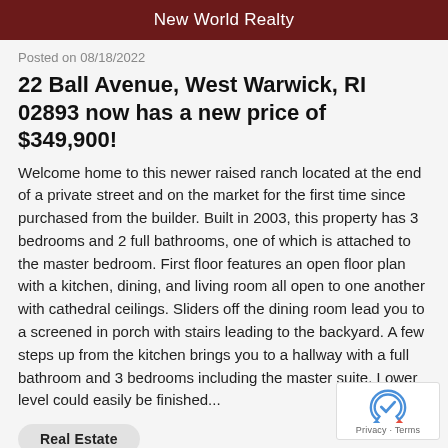New World Realty
Posted on 08/18/2022
22 Ball Avenue, West Warwick, RI 02893 now has a new price of $349,900!
Welcome home to this newer raised ranch located at the end of a private street and on the market for the first time since purchased from the builder. Built in 2003, this property has 3 bedrooms and 2 full bathrooms, one of which is attached to the master bedroom. First floor features an open floor plan with a kitchen, dining, and living room all open to one another with cathedral ceilings. Sliders off the dining room lead you to a screened in porch with stairs leading to the backyard. A few steps up from the kitchen brings you to a hallway with a full bathroom and 3 bedrooms including the master suite. Lower level could easily be finished...
Real Estate
West Warwick